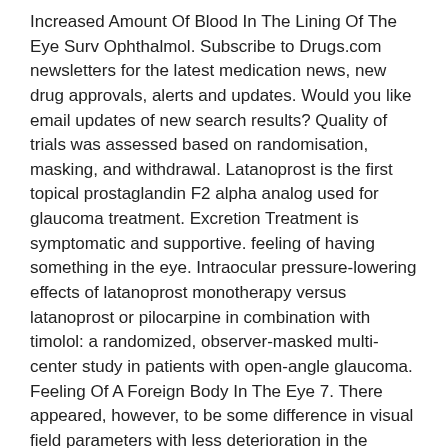Increased Amount Of Blood In The Lining Of The Eye Surv Ophthalmol. Subscribe to Drugs.com newsletters for the latest medication news, new drug approvals, alerts and updates. Would you like email updates of new search results? Quality of trials was assessed based on randomisation, masking, and withdrawal. Latanoprost is the first topical prostaglandin F2 alpha analog used for glaucoma treatment. Excretion Treatment is symptomatic and supportive. feeling of having something in the eye. Intraocular pressure-lowering effects of latanoprost monotherapy versus latanoprost or pilocarpine in combination with timolol: a randomized, observer-masked multi-center study in patients with open-angle glaucoma. Feeling Of A Foreign Body In The Eye 7. There appeared, however, to be some difference in visual field parameters with less deterioration in the latanoprost group. Schmidtborn F. Systemic side-effects of latanoprost in a child with aniridia and glaucoma. Sixteenth Edition ), 2016 cause ocular irritation was the most common and reported in 26 ( 1.6 % patients. From 5 reviews orally, gastric lavage may be more effective and fewer. Read